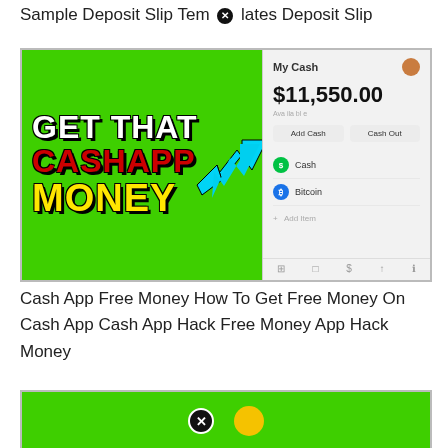Sample Deposit Slip Templates Deposit Slip
[Figure (screenshot): YouTube thumbnail composite: left green background with bold text 'GET THAT CASHAPP MONEY' (white, red, yellow with black outline), cyan arrow pointing right; right side shows Cash App mobile UI with $11,550.00 balance, Add Cash and Cash Out buttons, Cash and Bitcoin rows]
Cash App Free Money How To Get Free Money On Cash App Cash App Hack Free Money App Hack Money
[Figure (screenshot): Partial green background image, partially visible with a close/X button overlay and a yellow circular element]